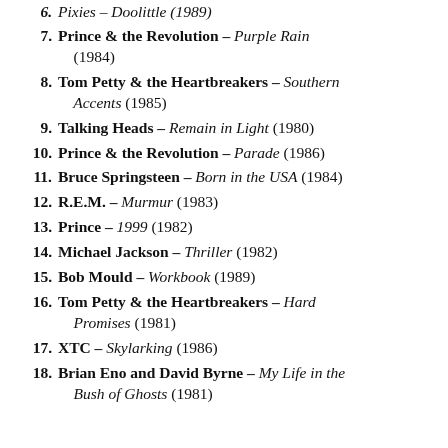6. Pixies – Doolittle (1989)
7. Prince & the Revolution – Purple Rain (1984)
8. Tom Petty & the Heartbreakers – Southern Accents (1985)
9. Talking Heads – Remain in Light (1980)
10. Prince & the Revolution – Parade (1986)
11. Bruce Springsteen – Born in the USA (1984)
12. R.E.M. – Murmur (1983)
13. Prince – 1999 (1982)
14. Michael Jackson – Thriller (1982)
15. Bob Mould – Workbook (1989)
16. Tom Petty & the Heartbreakers – Hard Promises (1981)
17. XTC – Skylarking (1986)
18. Brian Eno and David Byrne – My Life in the Bush of Ghosts (1981)